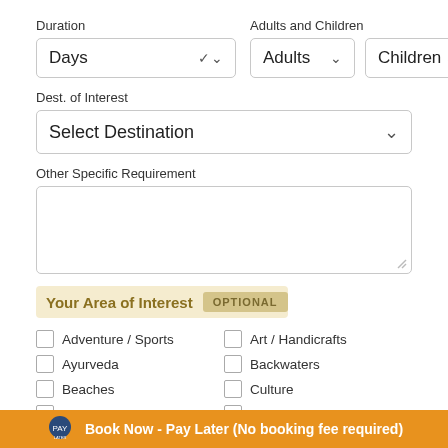Duration
Adults and Children
Days
Adults
Children
Dest. of Interest
Select Destination
Other Specific Requirement
Your Area of Interest OPTIONAL
Adventure / Sports
Art / Handicrafts
Ayurveda
Backwaters
Beaches
Culture
East India
Fairs / Festivals
Book Now - Pay Later (No booking fee required)